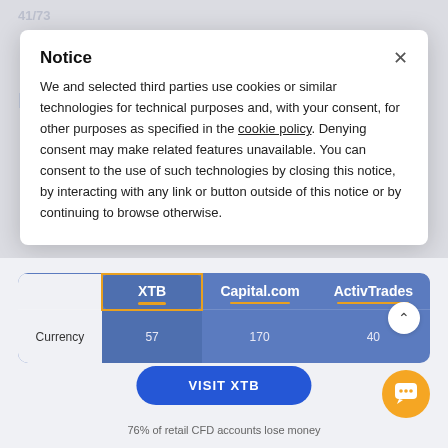[Figure (screenshot): Background web page showing 'Markets and products' heading in blue/gray and faded paragraph text, partially obscured by a cookie consent modal overlay.]
Notice
We and selected third parties use cookies or similar technologies for technical purposes and, with your consent, for other purposes as specified in the cookie policy. Denying consent may make related features unavailable. You can consent to the use of such technologies by closing this notice, by interacting with any link or button outside of this notice or by continuing to browse otherwise.
XTB CFD markets
|  | XTB | Capital.com | ActivTrades |
| --- | --- | --- | --- |
| Currency | 57 | 170 | 40 |
VISIT XTB
76% of retail CFD accounts lose money